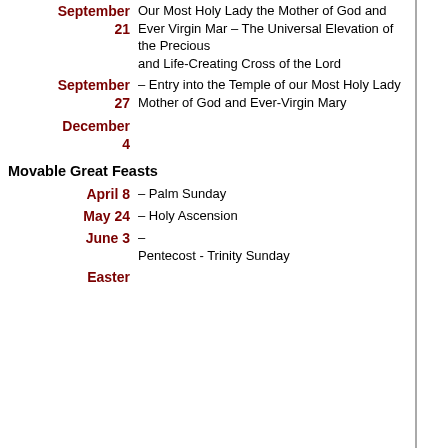| September 21 | Our Most Holy Lady the Mother of God and Ever Virgin Mar – The Universal Elevation of the Precious and Life-Creating Cross of the Lord |
| September 27 | – Entry into the Temple of our Most Holy Lady Mother of God and Ever-Virgin Mary |
Movable Great Feasts
| April 8 | – Palm Sunday |
| May 24 | – Holy Ascension |
| June 3 | – Pentecost - Trinity Sunday |